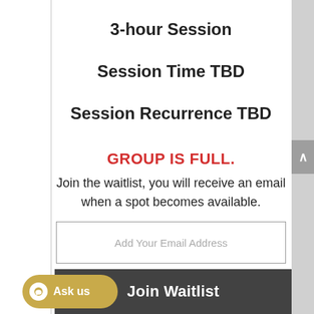3-hour Session
Session Time TBD
Session Recurrence TBD
GROUP IS FULL.
Join the waitlist, you will receive an email when a spot becomes available.
Add Your Email Address
Join Waitlist
Ask us